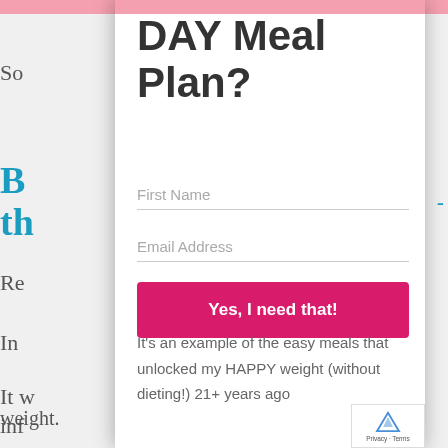DAY Meal Plan?
First Name
Email Address
Yes, I need that!
It's an example of the easy meals that unlocked my HAPPY weight (without dieting!) 21+ years ago